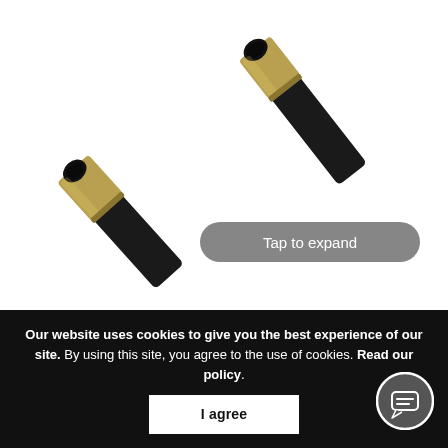[Figure (photo): Two Milano Anthracite Pipe Connectors photographed from above, showing black cylindrical tubes with gold/brass colored metal ends, on white background. A 'Tap to expand' button overlay is visible.]
Milano – Anthracite Pipe Connectors (Pair)
Product Code  TRURVPA3O2
Our website uses cookies to give you the best experience of our site. By using this site, you agree to the use of cookies. Read our policy.
I agree